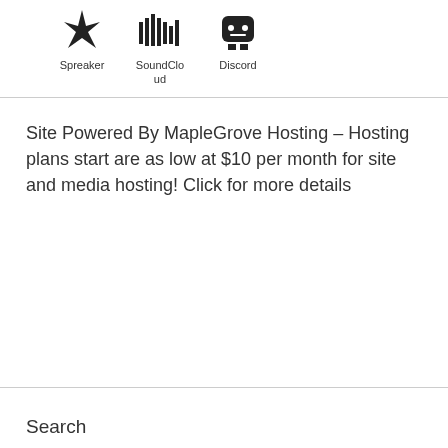[Figure (illustration): Three platform icons: Spreaker (star-like icon), SoundCloud (waveform icon), Discord (game controller/ghost icon) with labels below each]
Site Powered By MapleGrove Hosting – Hosting plans start are as low at $10 per month for site and media hosting! Click for more details
Search